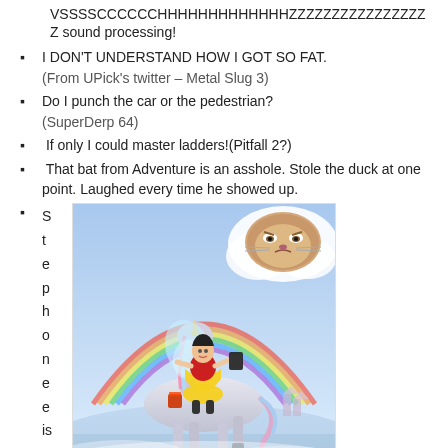VSSSSCCCCCCHHHHHHHHHHHHHZZZZZZZZZZZZZZZZ
Z sound processing!
I DON'T UNDERSTAND HOW I GOT SO FAT.
(From UPick's twitter – Metal Slug 3)
Do I punch the car or the pedestrian?
(SuperDerp 64)
If only I could master ladders!(Pitfall 2?)
That bat from Adventure is an asshole. Stole the duck at one point. Laughed every time he showed up.
S
t
e
p
h
o
n
e
e
is
[Figure (illustration): Fantasy illustration showing a woman dressed as Snow White with fairy wings riding a white unicorn, holding a tablet, with a rainbow in the background and a grumpy cat in clouds, and a castle in the distance.]